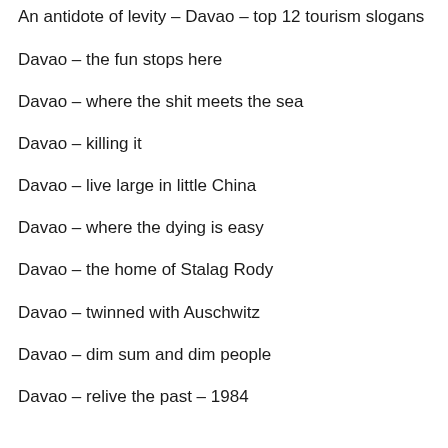An antidote of levity – Davao – top 12 tourism slogans
Davao – the fun stops here
Davao – where the shit meets the sea
Davao – killing it
Davao – live large in little China
Davao – where the dying is easy
Davao – the home of Stalag Rody
Davao – twinned with Auschwitz
Davao – dim sum and dim people
Davao – relive the past – 1984